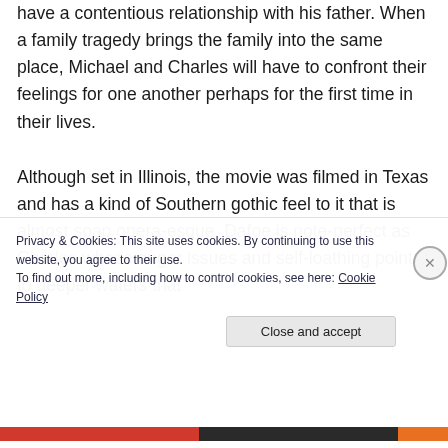have a contentious relationship with his father. When a family tragedy brings the family into the same place, Michael and Charles will have to confront their feelings for one another perhaps for the first time in their lives.
Although set in Illinois, the movie was filmed in Texas and has a kind of Southern gothic feel to it that is almost soap opera-esque. Dafoe is note-perfect as Charles whose anger issues and self-loathing point to deeper waters that
Privacy & Cookies: This site uses cookies. By continuing to use this website, you agree to their use.
To find out more, including how to control cookies, see here: Cookie Policy